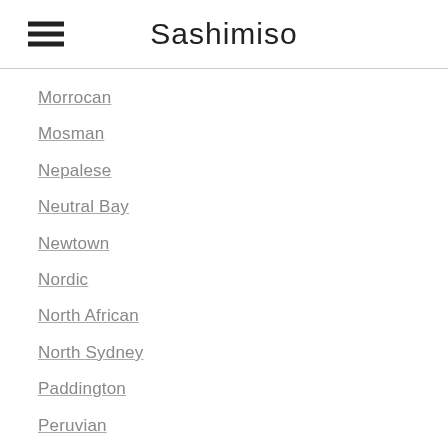Sashimiso
Morrocan
Mosman
Nepalese
Neutral Bay
Newtown
Nordic
North African
North Sydney
Paddington
Peruvian
Portuguese
Potts Point
Pyrmont
Redfern
Ryde
Scandinavian
Seafood
Spanish